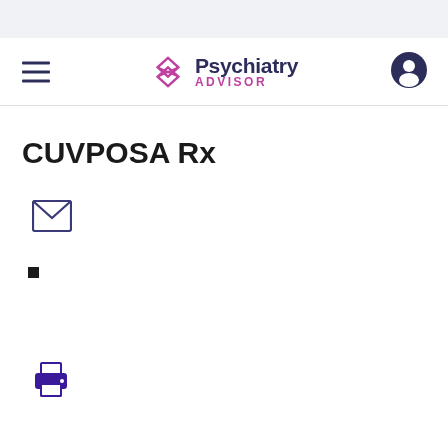Psychiatry Advisor
CUVPOSA Rx
[Figure (illustration): Email envelope icon]
[Figure (illustration): Small black square bullet point]
[Figure (illustration): Printer icon]